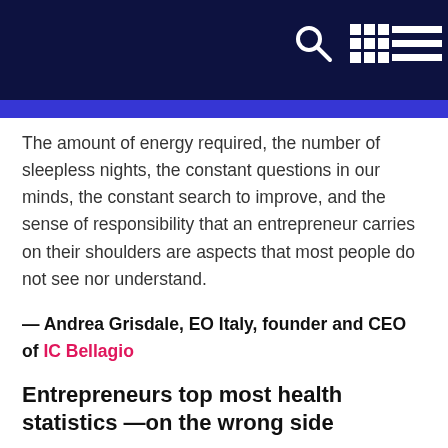[Navigation bar with search, grid, and menu icons]
The amount of energy required, the number of sleepless nights, the constant questions in our minds, the constant search to improve, and the sense of responsibility that an entrepreneur carries on their shoulders are aspects that most people do not see nor understand.
— Andrea Grisdale, EO Italy, founder and CEO of IC Bellagio
Entrepreneurs top most health statistics —on the wrong side
Being an entrepreneur is a privilege that affords us a lifestyle that most people think they would love. What many don't understand is the personal cost.